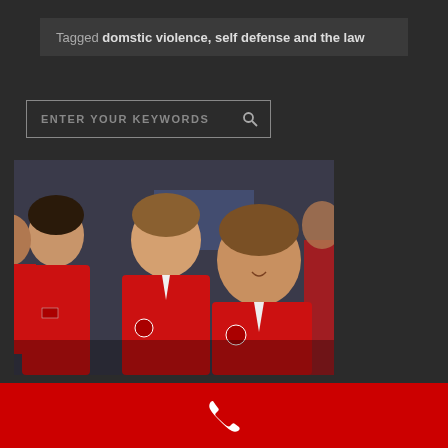Tagged domstic violence, self defense and the law
ENTER YOUR KEYWORDS
[Figure (photo): Three young boys wearing red martial arts/karate uniforms (gi), smiling, photographed indoors at what appears to be a martial arts class. A partial view of another child in the background on the left.]
[Figure (infographic): Red footer bar with white phone/telephone icon in the center]